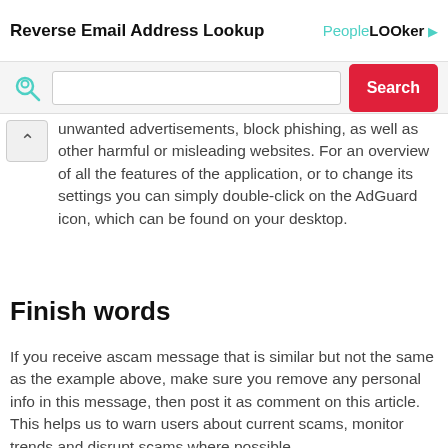Reverse Email Address Lookup | PeopleLooker
AdGuard will start automatically and stop unwanted advertisements, block phishing, as well as other harmful or misleading websites. For an overview of all the features of the application, or to change its settings you can simply double-click on the AdGuard icon, which can be found on your desktop.
Finish words
If you receive ascam message that is similar but not the same as the example above, make sure you remove any personal info in this message, then post it as comment on this article. This helps us to warn users about current scams, monitor trends and disrupt scams where possible.